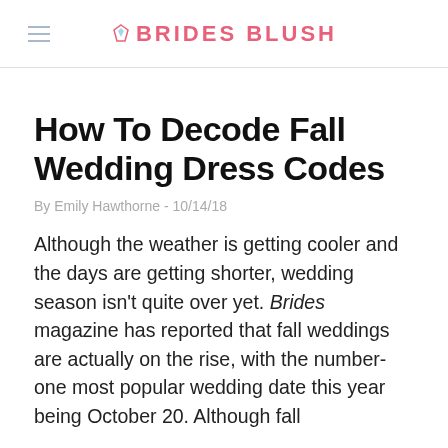BRIDES BLUSH
How To Decode Fall Wedding Dress Codes
By Emily Hawthorne - 10/14/18
Although the weather is getting cooler and the days are getting shorter, wedding season isn't quite over yet. Brides magazine has reported that fall weddings are actually on the rise, with the number-one most popular wedding date this year being October 20. Although fall